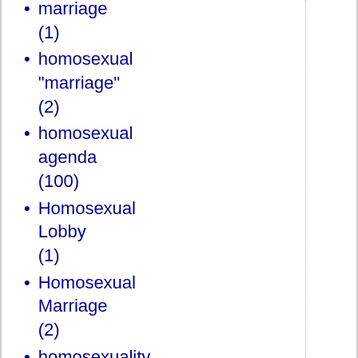marriage (1)
homosexual "marriage" (2)
homosexual agenda (100)
Homosexual Lobby (1)
Homosexual Marriage (2)
homosexuality (6)
Homosexuality (11)
honor killing (2)
hope (3)
horizontal ponzi scheme